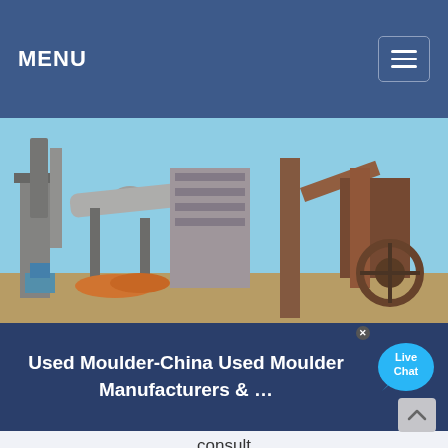MENU
[Figure (photo): Industrial machinery/factory site with large rotary kiln equipment, metal conveyors, and construction infrastructure against a blue sky]
Used Moulder-China Used Moulder Manufacturers & …
consult
QMB623GH Woodworking Machinery Wood Planer Four-side Moulder. US $ 67,000-69,800 / Set FOB. MOQ: 1 Set. Since 2018. Main Products. Woodworking Machinery, Four Side Moulder, Thicknesser Planer, Rip Saw, Mortising and Tenoning Machine, Double-End Tenoning Machin…